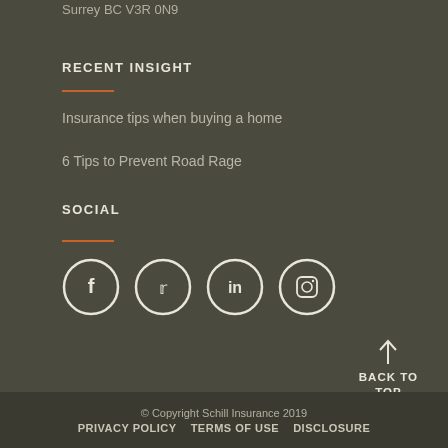Surrey BC V3R 0N9
RECENT INSIGHT
Insurance tips when buying a home
6 Tips to Prevent Road Rage
SOCIAL
[Figure (illustration): Social media icons in circles: Facebook, Twitter, LinkedIn, Instagram]
BACK TO TOP
© Copyright Schill Insurance 2019  PRIVACY POLICY  TERMS OF USE  DISCLOSURE